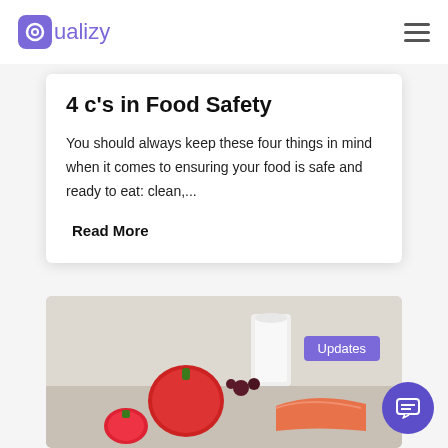Qualizy
4 c’s in Food Safety
You should always keep these four things in mind when it comes to ensuring your food is safe and ready to eat: clean,...
Read More
[Figure (photo): Photo of food items including tomatoes, strawberries, milk glass, and salmon on a light background, with an 'Updates' badge overlay and a chat button in the bottom right corner.]